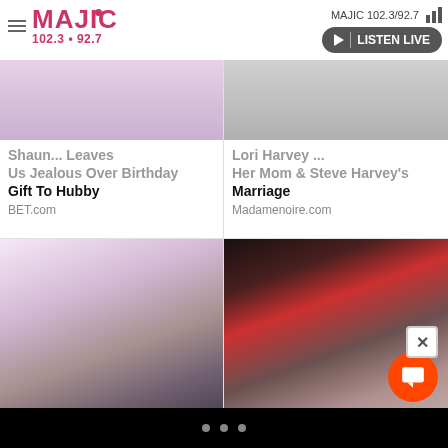MAJIC 102.3/92.7 | LISTEN LIVE
[Figure (screenshot): Partially visible article image top left - person photo]
Shaun... Leaves Us Jealous Over Birthday Gift To Hubby
BET.com
[Figure (screenshot): Partially visible article image top right]
Lori Harvey ... Her Mom & Steve Harvey's Marriage
Madamenoire.com
[Figure (photo): Eva Marcille wearing houndstooth dress, holding tablet]
Eva Marcille Wore The Most Incredible Dress To The BET Awards
Bravotv.com
[Figure (photo): Two people kissing, one wearing a red cap]
Why Wife Swap Got Canceled Is Really No Secret Anymore
NickiSwift.com
• • •